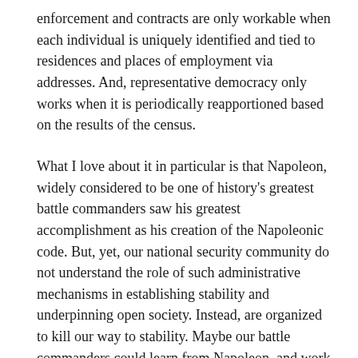enforcement and contracts are only workable when each individual is uniquely identified and tied to residences and places of employment via addresses.  And, representative democracy only works when it is periodically reapportioned based on the results of the census.
What I love about it in particular is that Napoleon, widely considered to be one of history's greatest battle commanders saw his greatest accomplishment as his creation of the Napoleonic code.  But, yet, our national security community do not understand the role of such administrative mechanisms in establishing stability and underpinning open society.  Instead, are organized to kill our way to stability.  Maybe our battle commanders could learn from Napoleon, and work to establish a well managed cadastre, address systems, unique IDs, and a systematic census in the conflict zones to which we so readily send out troops.  Perhaps if we underwrote this investment in countries of national security concern to us